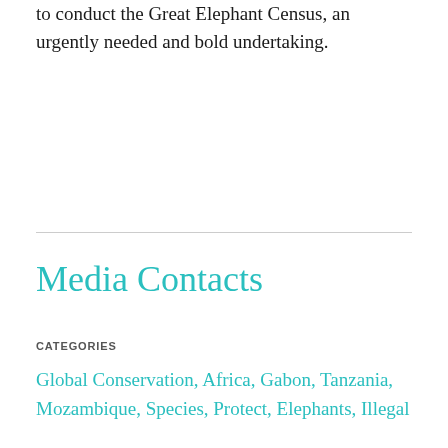to conduct the Great Elephant Census, an urgently needed and bold undertaking.
Media Contacts
CATEGORIES
Global Conservation, Africa, Gabon, Tanzania, Mozambique, Species, Protect, Elephants, Illegal